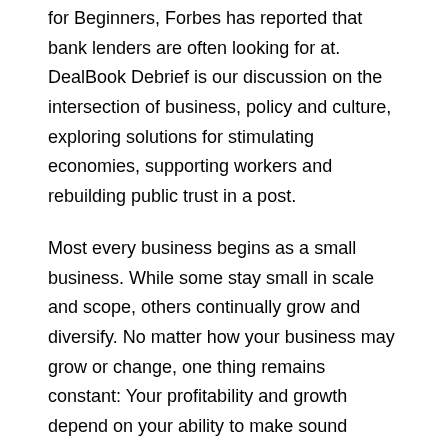for Beginners, Forbes has reported that bank lenders are often looking for at. DealBook Debrief is our discussion on the intersection of business, policy and culture, exploring solutions for stimulating economies, supporting workers and rebuilding public trust in a post.
Most every business begins as a small business. While some stay small in scale and scope, others continually grow and diversify. No matter how your business may grow or change, one thing remains constant: Your profitability and growth depend on your ability to make sound business decisions.
Private equity (PE) is a very broad term used to refer to different ways of financing companies in pursuit of different activities are private equity: from investment by venture capitalists in a would-be entrepreneur, to corporate takeovers by investment funds, generally organized as limited formally, private equity is a type of equity and one of the asset.
How small-town capital is pursuing startup dreams Premium Job opportunities created by startups have nearly doubled between and. KRS Capital Partners Financing The Acquisition of Crown Holdings.